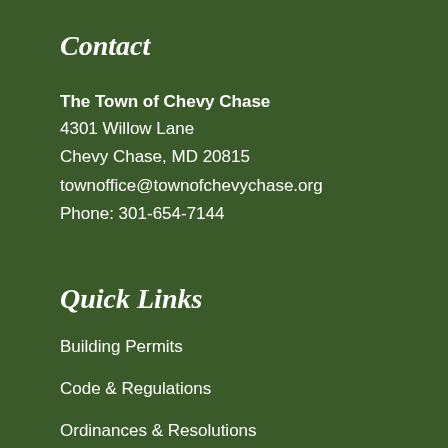Contact
The Town of Chevy Chase
4301 Willow Lane
Chevy Chase, MD 20815
townoffice@townofchevychase.org
Phone: 301-654-7144
Quick Links
Building Permits
Code & Regulations
Ordinances & Resolutions
Parking Information